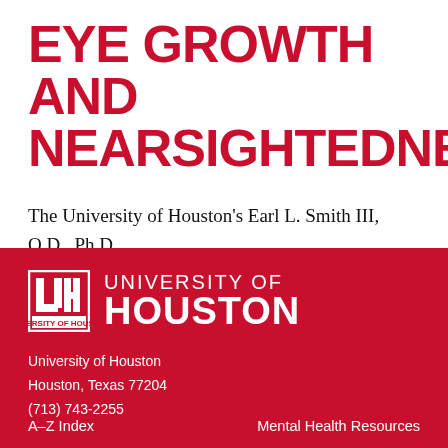EYE GROWTH AND NEARSIGHTEDNESS
The University of Houston’s Earl L. Smith III, O.D., Ph.D., is at the forefront of myopia research.
[Figure (logo): University of Houston logo: UH Cougar mark on left, UNIVERSITY OF HOUSTON text on right, white on red background]
University of Houston
Houston, Texas 77204
(713) 743-2255
A–Z Index
Mental Health Resources